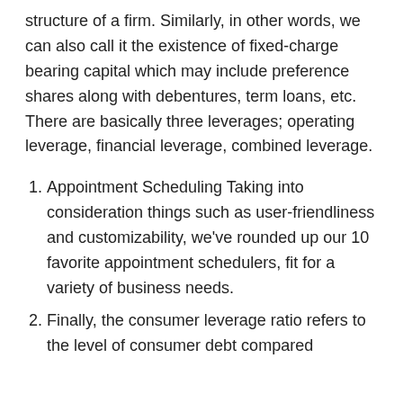structure of a firm. Similarly, in other words, we can also call it the existence of fixed-charge bearing capital which may include preference shares along with debentures, term loans, etc. There are basically three leverages; operating leverage, financial leverage, combined leverage.
Appointment Scheduling Taking into consideration things such as user-friendliness and customizability, we've rounded up our 10 favorite appointment schedulers, fit for a variety of business needs.
Finally, the consumer leverage ratio refers to the level of consumer debt compared